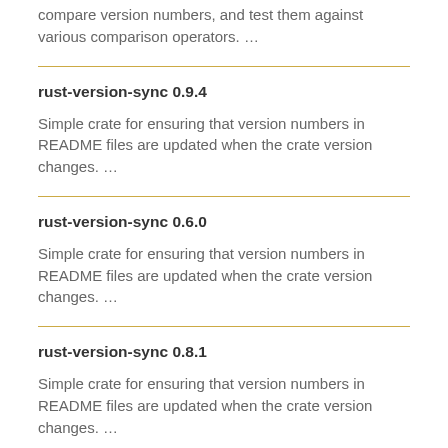compare version numbers, and test them against various comparison operators. …
rust-version-sync 0.9.4
Simple crate for ensuring that version numbers in README files are updated when the crate version changes. …
rust-version-sync 0.6.0
Simple crate for ensuring that version numbers in README files are updated when the crate version changes. …
rust-version-sync 0.8.1
Simple crate for ensuring that version numbers in README files are updated when the crate version changes. …